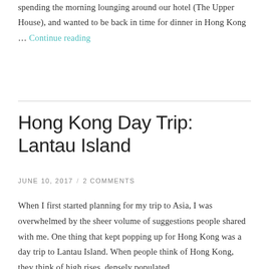spending the morning lounging around our hotel (The Upper House), and wanted to be back in time for dinner in Hong Kong … Continue reading
Hong Kong Day Trip: Lantau Island
JUNE 10, 2017 / 2 COMMENTS
When I first started planning for my trip to Asia, I was overwhelmed by the sheer volume of suggestions people shared with me. One thing that kept popping up for Hong Kong was a day trip to Lantau Island. When people think of Hong Kong, they think of high rises, densely populated